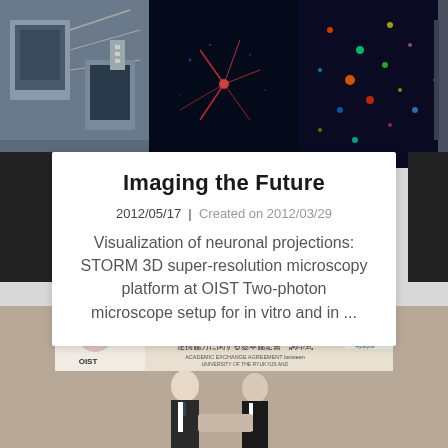[Figure (photo): Composite strip of three scientific microscopy images: laboratory equipment on left, neuron fluorescence image in center dark blue with red neuron, colorful neural imaging on right]
Imaging the Future
2012/05/17 | Created on 2012/03/29
Visualization of neuronal projections: STORM 3D super-resolution microscopy platform at OIST Two-photon microscope setup for in vitro and in ...
[Figure (photo): Two men in suits standing in front of a banner showing Academic Exchange Agreement between Okinawa Institute of Science and Technology Graduate University and University of the Ryukyus, with Japanese text and OIST logo]